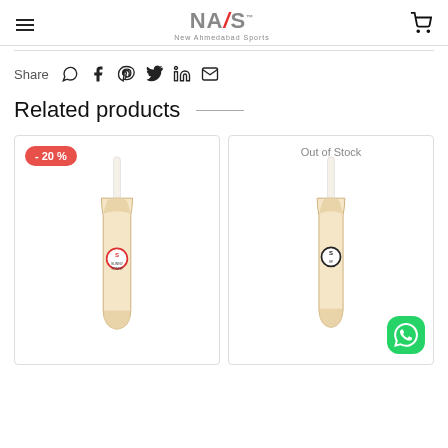NAS - New Ahmedabad Sports
Share
Related products
[Figure (photo): Cricket bat product image with -20% discount badge]
[Figure (photo): Cricket bat product image with Out of Stock label]